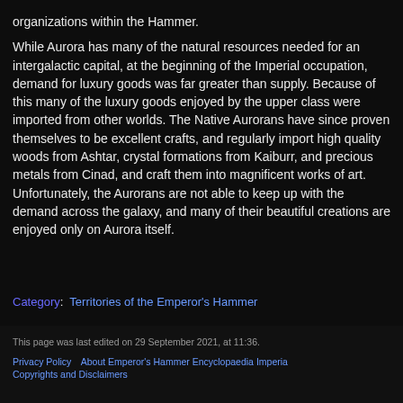organizations within the Hammer.
While Aurora has many of the natural resources needed for an intergalactic capital, at the beginning of the Imperial occupation, demand for luxury goods was far greater than supply. Because of this many of the luxury goods enjoyed by the upper class were imported from other worlds. The Native Aurorans have since proven themselves to be excellent crafts, and regularly import high quality woods from Ashtar, crystal formations from Kaiburr, and precious metals from Cinad, and craft them into magnificent works of art. Unfortunately, the Aurorans are not able to keep up with the demand across the galaxy, and many of their beautiful creations are enjoyed only on Aurora itself.
Category:  Territories of the Emperor's Hammer
This page was last edited on 29 September 2021, at 11:36.
Privacy Policy   About Emperor's Hammer Encyclopaedia Imperia   Copyrights and Disclaimers